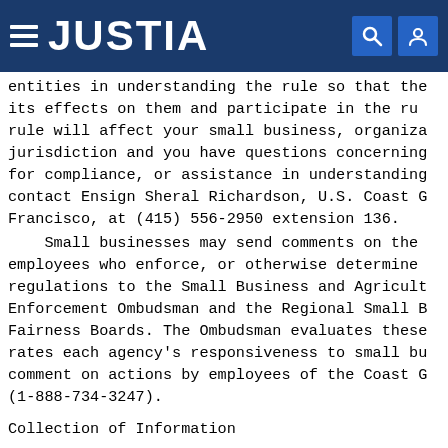JUSTIA
entities in understanding the rule so that the its effects on them and participate in the ru rule will affect your small business, organiza jurisdiction and you have questions concerning for compliance, or assistance in understanding contact Ensign Sheral Richardson, U.S. Coast G Francisco, at (415) 556-2950 extension 136.
Small businesses may send comments on the employees who enforce, or otherwise determine regulations to the Small Business and Agricult Enforcement Ombudsman and the Regional Small B Fairness Boards. The Ombudsman evaluates these rates each agency's responsiveness to small bu comment on actions by employees of the Coast G (1-888-734-3247).
Collection of Information